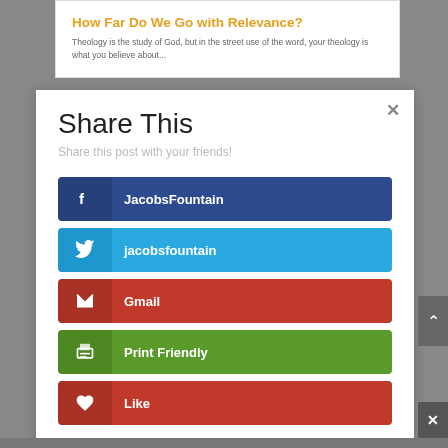How Far Do We Go with Relevance?
Theology is the study of God, but in the street use of the word, your theology is what you believe about...
Share This
Share this post with your friends!
[Figure (screenshot): Facebook share button with label JacobsFountain]
[Figure (screenshot): Twitter share button with label jacobsfountain]
[Figure (screenshot): Gmail share button with label Gmail]
[Figure (screenshot): Print Friendly share button with label Print Friendly]
[Figure (screenshot): Like share button with label Like]